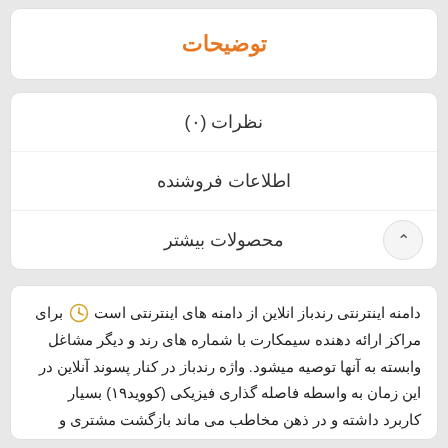توضیحات
نظرات (۰)
اطلاعات فروشنده
محصولات بیشتر
دامنه اینترنتی رندباز انلاین از دامنه های اینترنتی است که برای مراکز ارائه دهنده سیمکارت با شماره های رند و دیگر مشاغل وابسته به آنها توصیه میشود. واژه رندباز در کنار پسوند آنلاین در این زمان به واسطه فاصله گذاری فیزیکی (کووید۱۹) بسیار کاربرد داشته و در ذهن مخاطب می ماند بازگشت مشتری و مخاطب را به سایت راحت تر می کند
دامنه های مشابه: